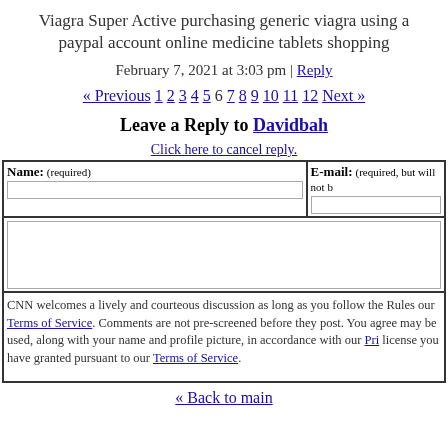Viagra Super Active purchasing generic viagra using a paypal account online medicine tablets shopping
February 7, 2021 at 3:03 pm | Reply
« Previous 1 2 3 4 5 6 7 8 9 10 11 12 Next »
Leave a Reply to Davidbah
Click here to cancel reply.
CNN welcomes a lively and courteous discussion as long as you follow the Rules our Terms of Service. Comments are not pre-screened before they post. You agree may be used, along with your name and profile picture, in accordance with our Pri license you have granted pursuant to our Terms of Service.
« Back to main